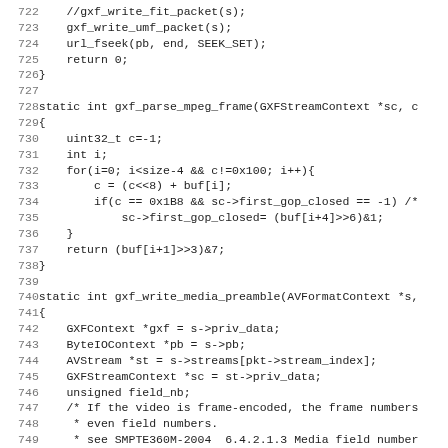Source code listing lines 722-754, C code for GXF media format functions